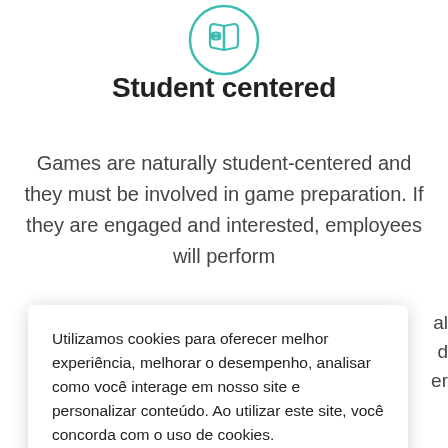[Figure (illustration): Teal/green circular icon with a book and database/stack symbol inside]
Student centered
Games are naturally student-centered and they must be involved in game preparation. If they are engaged and interested, employees will perform
Utilizamos cookies para oferecer melhor experiência, melhorar o desempenho, analisar como você interage em nosso site e personalizar conteúdo. Ao utilizar este site, você concorda com o uso de cookies.
Ok, entendi!